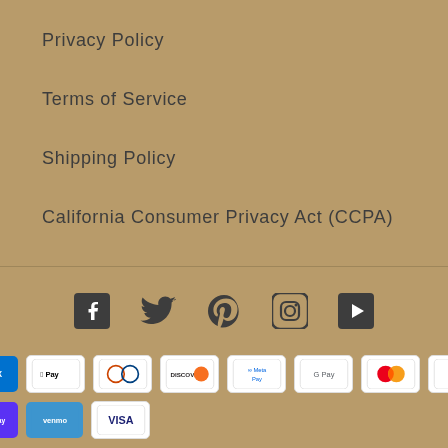Privacy Policy
Terms of Service
Shipping Policy
California Consumer Privacy Act (CCPA)
[Figure (infographic): Social media icons: Facebook, Twitter, Pinterest, Instagram, YouTube]
[Figure (infographic): Payment method badges: American Express, Apple Pay, Diners Club, Discover, Meta Pay, Google Pay, Mastercard, PayPal, Shop Pay, Venmo, Visa]